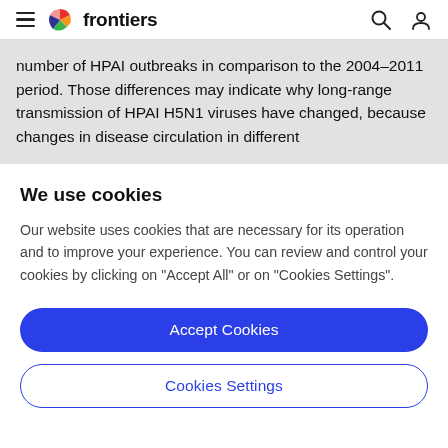frontiers
number of HPAI outbreaks in comparison to the 2004–2011 period. Those differences may indicate why long-range transmission of HPAI H5N1 viruses have changed, because changes in disease circulation in different
We use cookies
Our website uses cookies that are necessary for its operation and to improve your experience. You can review and control your cookies by clicking on "Accept All" or on "Cookies Settings".
Accept Cookies
Cookies Settings